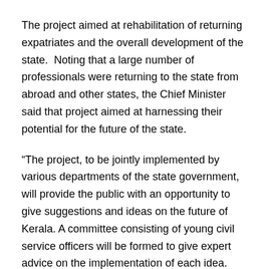The project aimed at rehabilitation of returning expatriates and the overall development of the state.  Noting that a large number of professionals were returning to the state from abroad and other states, the Chief Minister said that project aimed at harnessing their potential for the future of the state.
“The project, to be jointly implemented by various departments of the state government, will provide the public with an opportunity to give suggestions and ideas on the future of Kerala. A committee consisting of young civil service officers will be formed to give expert advice on the implementation of each idea. The expert committee will evaluate the proposals and recommend this to the respective departments,” Vijayan said.
The Chief Minister also announced a schedule for the implementation of the project: